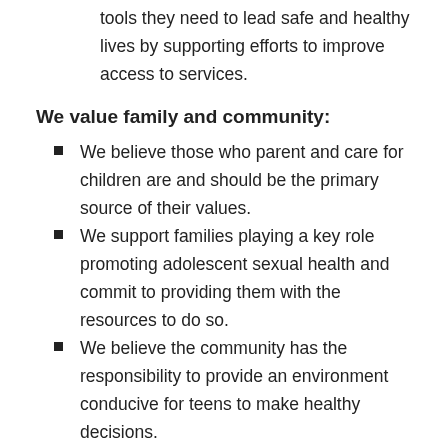tools they need to lead safe and healthy lives by supporting efforts to improve access to services.
We value family and community:
We believe those who parent and care for children are and should be the primary source of their values.
We support families playing a key role promoting adolescent sexual health and commit to providing them with the resources to do so.
We believe the community has the responsibility to provide an environment conducive for teens to make healthy decisions.